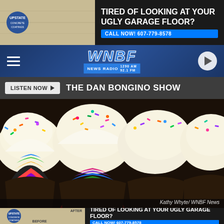[Figure (infographic): Top advertisement banner for Upstate Concrete Coatings showing before/after floor images with text: TIRED OF LOOKING AT YOUR UGLY GARAGE FLOOR? CALL NOW! 607-779-8578]
WNBF NEWS RADIO 1290 AM 92.1 FM
LISTEN NOW ▶  THE DAN BONGINO SHOW
[Figure (photo): Close-up photo of rainbow cupcakes with white frosting and colorful sprinkles. One cupcake is cut open revealing rainbow-colored interior cake. Photo credit: Kathy Whyte / WNBF News]
Kathy Whyte/ WNBF News
[Figure (infographic): Bottom advertisement banner for Upstate Concrete Coatings showing before/after floor images with text: TIRED OF LOOKING AT YOUR UGLY GARAGE FLOOR? CALL NOW! 607-779-8578]